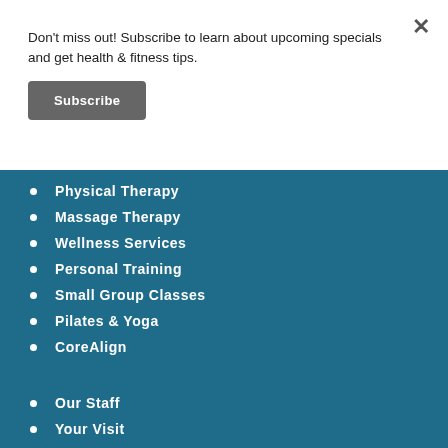Don't miss out! Subscribe to learn about upcoming specials and get health & fitness tips.
Subscribe
Physical Therapy
Massage Therapy
Wellness Services
Personal Training
Small Group Classes
Pilates & Yoga
CoreAlign
Our Staff
Your Visit